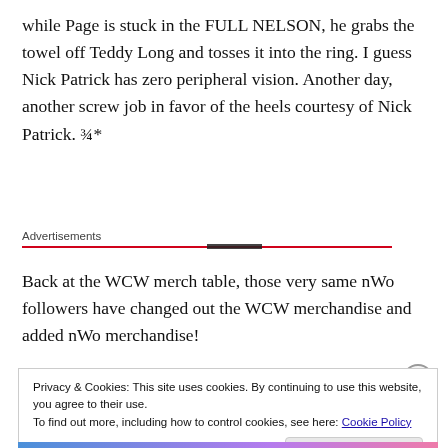while Page is stuck in the FULL NELSON, he grabs the towel off Teddy Long and tosses it into the ring. I guess Nick Patrick has zero peripheral vision. Another day, another screw job in favor of the heels courtesy of Nick Patrick. ¾*
Advertisements
Back at the WCW merch table, those very same nWo followers have changed out the WCW merchandise and added nWo merchandise!
Privacy & Cookies: This site uses cookies. By continuing to use this website, you agree to their use.
To find out more, including how to control cookies, see here: Cookie Policy